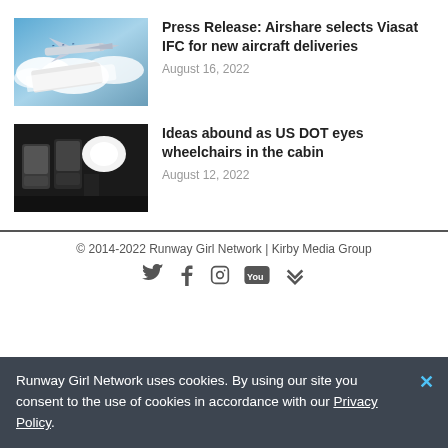[Figure (photo): Airplane flying above clouds, blue sky background]
Press Release: Airshare selects Viasat IFC for new aircraft deliveries
August 16, 2022
[Figure (photo): Aircraft cabin interior showing seats and windows]
Ideas abound as US DOT eyes wheelchairs in the cabin
August 12, 2022
© 2014-2022 Runway Girl Network | Kirby Media Group
Runway Girl Network uses cookies. By using our site you consent to the use of cookies in accordance with our Privacy Policy.